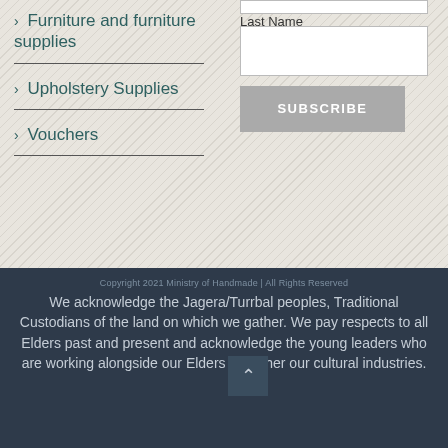> Furniture and furniture supplies
> Upholstery Supplies
> Vouchers
Last Name
SUBSCRIBE
Copyright 2021 Ministry of Handmade | All Rights Reserved
We acknowledge the Jagera/Turrbal peoples, Traditional Custodians of the land on which we gather. We pay respects to all Elders past and present and acknowledge the young leaders who are working alongside our Elders to further our cultural industries.